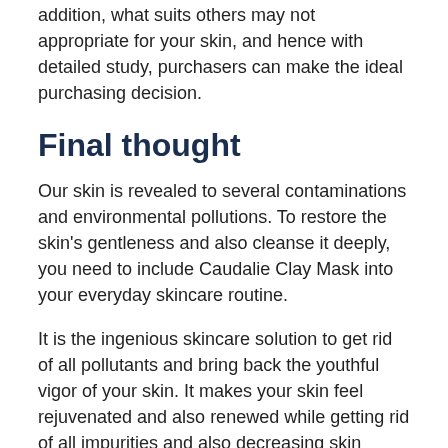addition, what suits others may not appropriate for your skin, and hence with detailed study, purchasers can make the ideal purchasing decision.
Final thought
Our skin is revealed to several contaminations and environmental pollutions. To restore the skin's gentleness and also cleanse it deeply, you need to include Caudalie Clay Mask into your everyday skincare routine.
It is the ingenious skincare solution to get rid of all pollutants and bring back the youthful vigor of your skin. It makes your skin feel rejuvenated and also renewed while getting rid of all impurities and also decreasing skin pores' size.